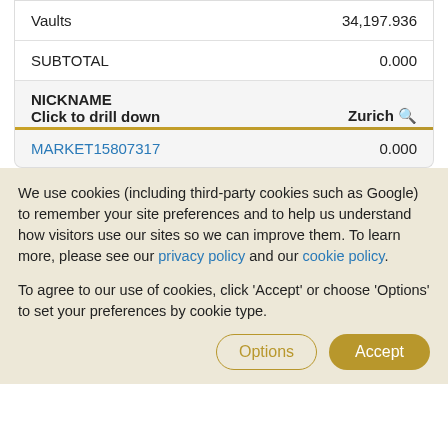| Item | Value |
| --- | --- |
| Vaults | 34,197.936 |
| SUBTOTAL | 0.000 |
| NICKNAME |  |
| --- | --- |
| Click to drill down | Zurich 🔍 |
| MARKET15807317 | 0.000 |
We use cookies (including third-party cookies such as Google) to remember your site preferences and to help us understand how visitors use our sites so we can improve them. To learn more, please see our privacy policy and our cookie policy.
To agree to our use of cookies, click 'Accept' or choose 'Options' to set your preferences by cookie type.